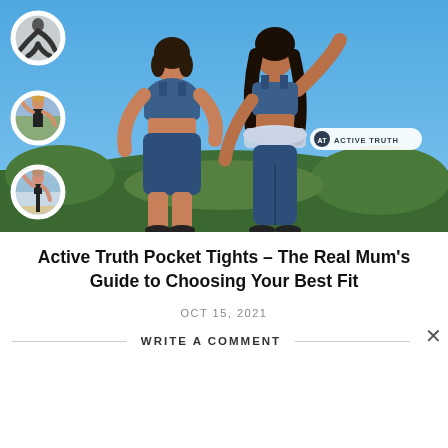[Figure (photo): Hero image showing two women in blue patterned athletic wear (sports bra and leggings/bike shorts) standing outdoors against a blue sky with greenery. On the left side are three circular thumbnail photos of individual women in athletic wear. An Active Truth logo badge is visible in the lower right of the image.]
Active Truth Pocket Tights – The Real Mum's Guide to Choosing Your Best Fit
OCT 15, 2021
WRITE A COMMENT